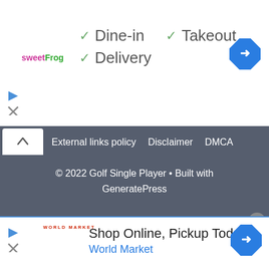[Figure (logo): sweetFrog logo in pink and green text]
✓ Dine-in  ✓ Takeout
✓ Delivery
[Figure (other): Blue diamond navigation arrow icon (top right)]
[Figure (other): Play and X control icons (top left)]
External links policy   Disclaimer   DMCA
© 2022 Golf Single Player • Built with GeneratePress
[Figure (other): Close (X) button circle]
[Figure (logo): World Market logo in red]
Shop Online, Pickup Today
World Market
[Figure (other): Blue diamond navigation arrow icon (bottom right)]
[Figure (other): Play and X control icons (bottom left)]